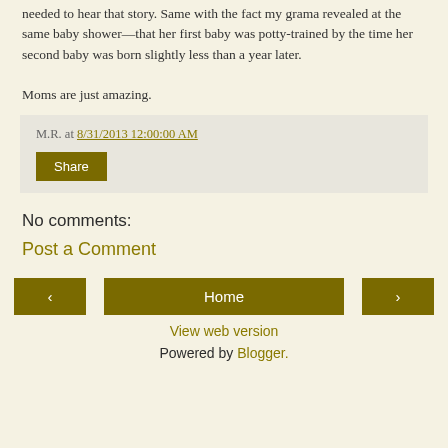I admire this woman like nobody's business already, so I surely needed to hear that story. Same with the fact my grama revealed at the same baby shower—that her first baby was potty-trained by the time her second baby was born slightly less than a year later.

Moms are just amazing.
M.R. at 8/31/2013 12:00:00 AM
Share
No comments:
Post a Comment
‹
Home
›
View web version
Powered by Blogger.